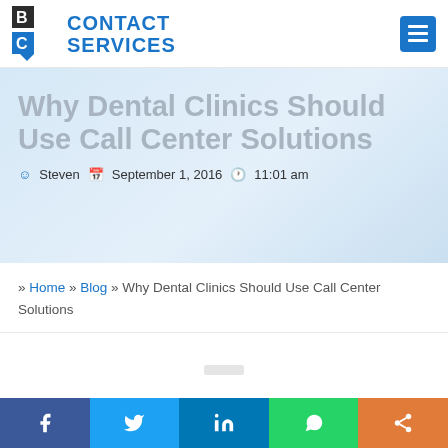[Figure (logo): 3C Contact Services logo with blue icon and text]
Why Dental Clinics Should Use Call Center Solutions
Steven  September 1, 2016  11:01 am
» Home » Blog » Why Dental Clinics Should Use Call Center Solutions
[Figure (infographic): Social share bar with Facebook, Twitter, LinkedIn, WhatsApp, and Share buttons]